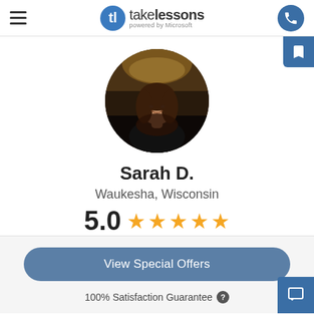takelessons powered by Microsoft
[Figure (photo): Circular profile photo of Sarah D., a young woman with long brown hair, smiling, wearing a black top, in a warmly lit interior setting.]
Sarah D.
Waukesha, Wisconsin
5.0 ★★★★★
View Special Offers
100% Satisfaction Guarantee